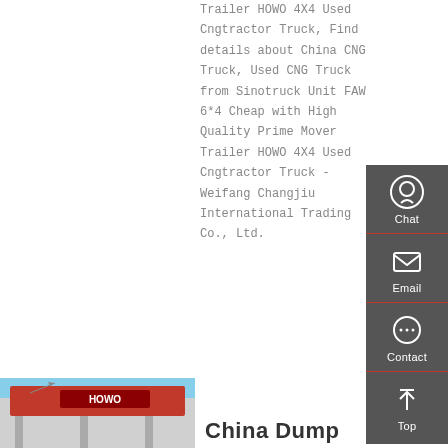Trailer HOWO 4X4 Used Cngtractor Truck, Find details about China CNG Truck, Used CNG Truck from Sinotruck Unit FAW 6*4 Cheap with High Quality Prime Mover Trailer HOWO 4X4 Used Cngtractor Truck - Weifang Changjiu International Trading Co., Ltd.
Chat
Email
Contact
Top
Get a Quote
[Figure (photo): Partial view of a HOWO building/showroom with red signage]
China Dump